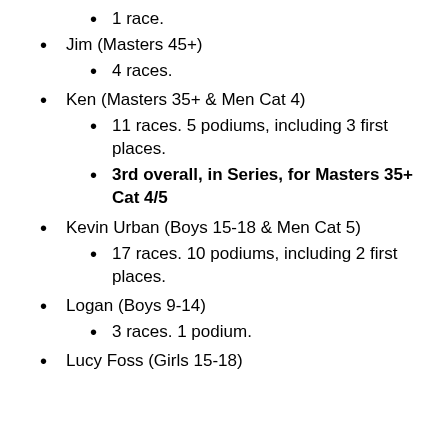1 race.
Jim (Masters 45+)
4 races.
Ken (Masters 35+ & Men Cat 4)
11 races.  5 podiums, including 3 first places.
3rd overall, in Series, for Masters 35+ Cat 4/5
Kevin Urban (Boys 15-18 & Men Cat 5)
17 races.  10 podiums, including 2 first places.
Logan (Boys 9-14)
3 races.  1 podium.
Lucy Foss (Girls 15-18)